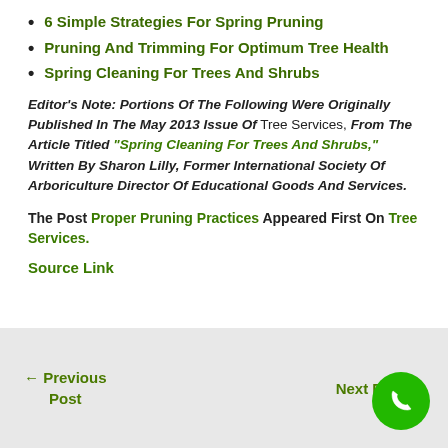6 Simple Strategies For Spring Pruning
Pruning And Trimming For Optimum Tree Health
Spring Cleaning For Trees And Shrubs
Editor’s Note: Portions Of The Following Were Originally Published In The May 2013 Issue Of Tree Services, From The Article Titled “Spring Cleaning For Trees And Shrubs,” Written By Sharon Lilly, Former International Society Of Arboriculture Director Of Educational Goods And Services.
The Post Proper Pruning Practices Appeared First On Tree Services.
Source Link
← Previous Post   Next Post →